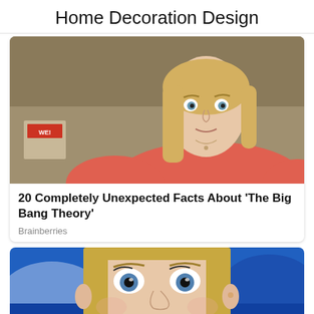Home Decoration Design
[Figure (photo): A blonde woman in a pink/coral shirt with a surprised or concerned expression, standing indoors with a tan/brown background]
20 Completely Unexpected Facts About 'The Big Bang Theory'
Brainberries
[Figure (photo): Close-up of a blonde woman with blue eyes and an open-mouthed surprised expression, with a blurred blue background]